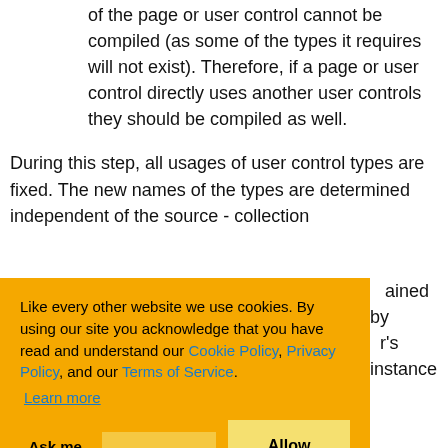of the page or user control cannot be compiled (as some of the types it requires will not exist). Therefore, if a page or user control directly uses another user controls they should be compiled as well.
During this step, all usages of user control types are fixed. The new names of the types are determined independent of the source - collection ... ained by ... r's instance ... s) ... ntrols ASP.NET ... file that contains ... age or user ... to the compiler and its content is embedded in the generated
Like every other website we use cookies. By using our site you acknowledge that you have read and understand our Cookie Policy, Privacy Policy, and our Terms of Service. Learn more
Ask me later   Decline   Allow cookies